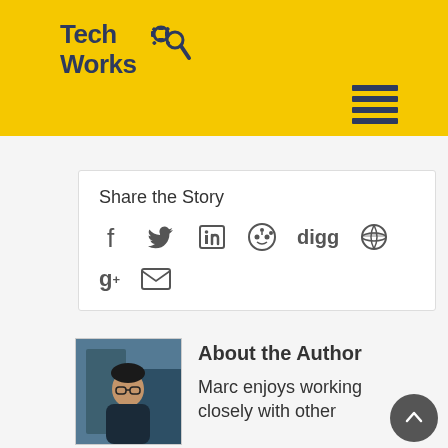Tech Works
[Figure (other): Share the Story box with social media icons: Facebook, Twitter, LinkedIn, Reddit, Digg, globe, Google+, email]
[Figure (photo): Author photo of Marc, a man wearing glasses]
About the Author
Marc enjoys working closely with other